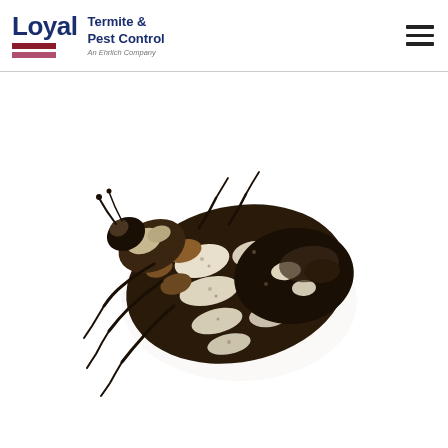Loyal Termite & Pest Control — An Ehrlich Company
[Figure (photo): Close-up photograph of a carpet beetle (Anthrenus species) on a white background, showing its distinctive mottled black, white, and brown/tan patterned elytra (wing covers) and small legs.]